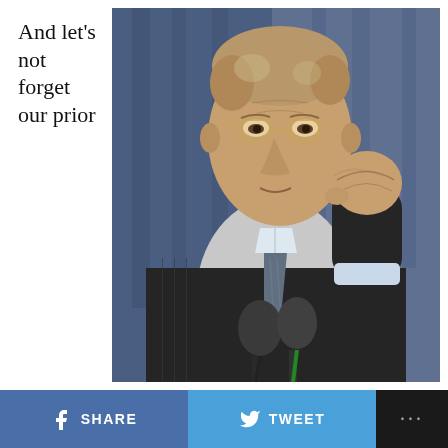And let's not forget our prior
[Figure (photo): An older man in a dark pinstripe suit speaking at a podium with microphones, raising a clenched fist. He wears glasses and a striped tie. Background is blue curtain/drape. Photo appears to be of George H.W. Bush.]
SHARE   TWEET   ...